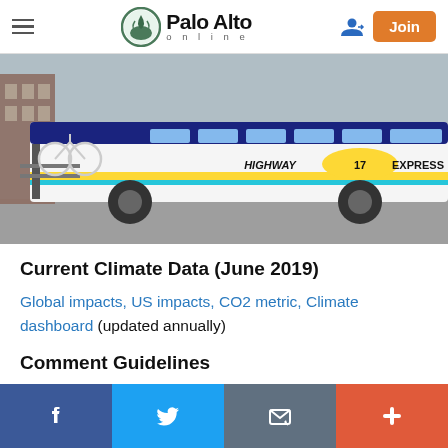Palo Alto online — navigation header with hamburger menu, logo, login icon, Join button
[Figure (photo): Side view of a Highway 17 Express bus with a bicycle rack mounted on the front, parked on a street.]
Current Climate Data (June 2019)
Global impacts, US impacts, CO2 metric, Climate dashboard (updated annually)
Comment Guidelines
Social sharing bar: Facebook, Twitter, Email, Plus